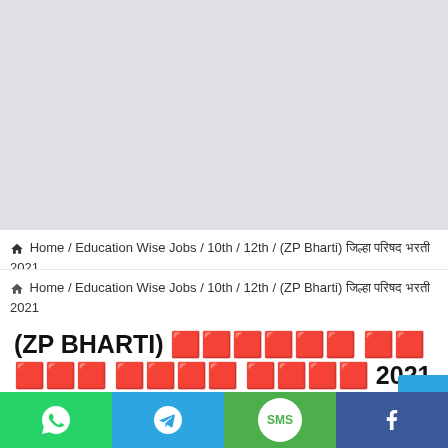[Figure (other): Gray advertisement/banner placeholder area at the top of the page]
Home / Education Wise Jobs / 10th / 12th / (ZP Bharti) जिल्हा परिषद भरती 2021
(ZP BHARTI) XXXXXX XXXXX XXXX XXXX 2021
ZP Recruitment 2021 : Government of Maharashtra, Zilla Parishad...